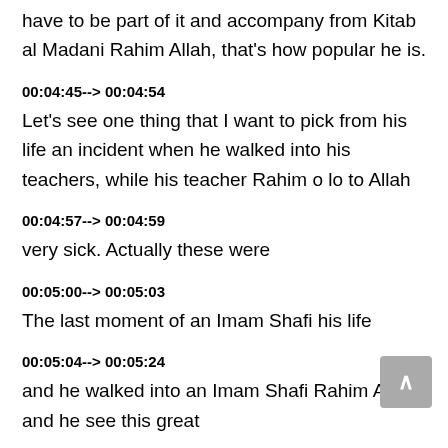have to be part of it and accompany from Kitab al Madani Rahim Allah, that's how popular he is.
00:04:45--> 00:04:54
Let's see one thing that I want to pick from his life an incident when he walked into his teachers, while his teacher Rahim o lo to Allah
00:04:57--> 00:04:59
very sick. Actually these were
00:05:00--> 00:05:03
The last moment of an Imam Shafi his life
00:05:04--> 00:05:24
and he walked into an Imam Shafi Rahim Allah and he see this great